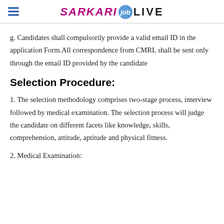SARKARI job LIVE
g. Candidates shall compulsorily provide a valid email ID in the application Form.All correspondence from CMRL shall be sent only through the email ID provided by the candidate
Selection Procedure:
1. The selection methodology comprises two-stage process, interview followed by medical examination. The selection process will judge the candidate on different facets like knowledge, skills, comprehension, attitude, aptitude and physical fitness.
2. Medical Examination: